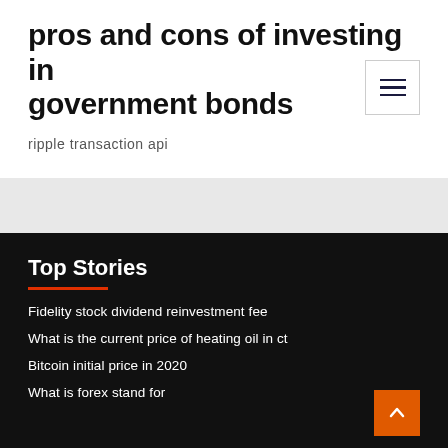pros and cons of investing in government bonds
ripple transaction api
Top Stories
Fidelity stock dividend reinvestment fee
What is the current price of heating oil in ct
Bitcoin initial price in 2020
What is forex stand for